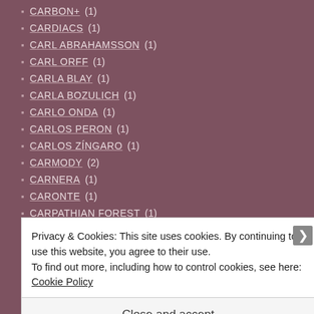CARBON+ (1)
CARDIACS (1)
CARL ABRAHAMSSON (1)
CARL ORFF (1)
CARLA BLAY (1)
CARLA BOZULICH (1)
CARLO ONDA (1)
CARLOS PERON (1)
CARLOS ZÍNGARO (1)
CARMODY (2)
CARNERA (1)
CARONTE (1)
CARPATHIAN FOREST (1)
CARRIEGOSS (1)
CARTER THE UNSTOPPABLE SEX MACHINE (1)
CARTER TUTTI VOID (1)
Privacy & Cookies: This site uses cookies. By continuing to use this website, you agree to their use. To find out more, including how to control cookies, see here: Cookie Policy
Close and accept